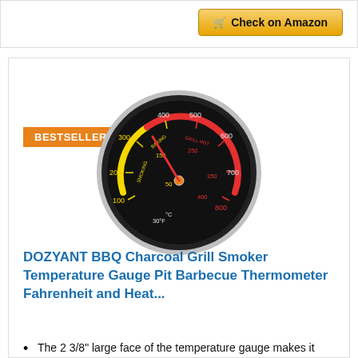[Figure (illustration): Amazon 'Check on Amazon' button with shopping cart icon, gold/yellow gradient background]
BESTSELLER NO. 12
[Figure (photo): BBQ grill thermometer gauge with black face, yellow and red arc markings, showing Fahrenheit (30-800F) and Celsius scales with labels for SMOKING, BAKING, and GRILL HOT zones]
DOZYANT BBQ Charcoal Grill Smoker Temperature Gauge Pit Barbecue Thermometer Fahrenheit and Heat...
The 2 3/8" large face of the temperature gauge makes it easy to read and classify the temperature of your food. The Stem is 2 7/8"